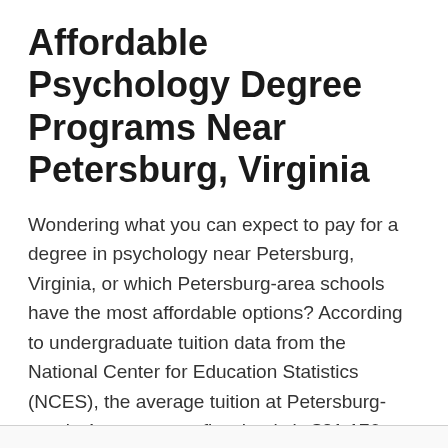Affordable Psychology Degree Programs Near Petersburg, Virginia
Wondering what you can expect to pay for a degree in psychology near Petersburg, Virginia, or which Petersburg-area schools have the most affordable options? According to undergraduate tuition data from the National Center for Education Statistics (NCES), the average tuition at Petersburg-area's 4-year nonprofit schools is $21,176. The average tuition at 4-year for-profit schools near Petersburg is N/A, while tuition at 2-year online colleges and universities is $4,800.